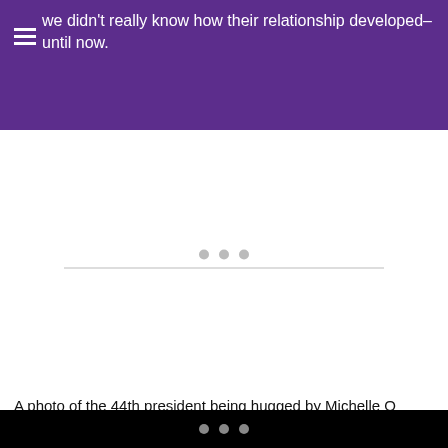we didn't really know how their relationship developed–until now.
[Figure (other): White image placeholder area with three grey dots and a horizontal rule divider in the center]
A photo of the 44th president being hugged by Michelle O during the opening of the Smithsonian's National Museum of